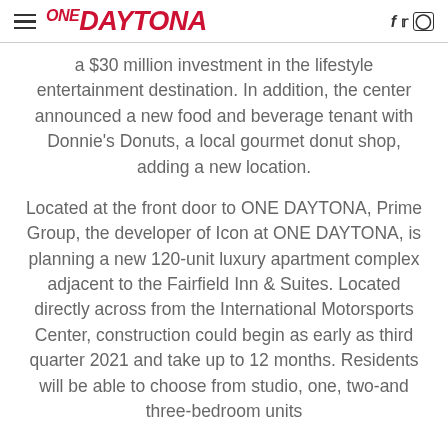ONE DAYTONA
a $30 million investment in the lifestyle entertainment destination. In addition, the center announced a new food and beverage tenant with Donnie's Donuts, a local gourmet donut shop, adding a new location.
Located at the front door to ONE DAYTONA, Prime Group, the developer of Icon at ONE DAYTONA, is planning a new 120-unit luxury apartment complex adjacent to the Fairfield Inn & Suites. Located directly across from the International Motorsports Center, construction could begin as early as third quarter 2021 and take up to 12 months. Residents will be able to choose from studio, one, two-and three-bedroom units